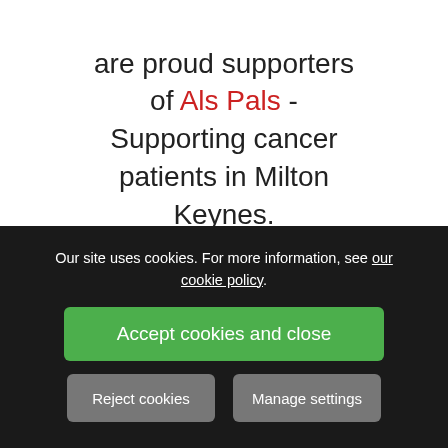are proud supporters of Als Pals - Supporting cancer patients in Milton Keynes.
Find Out More  |  Donate Now
Our site uses cookies. For more information, see our cookie policy.
Accept cookies and close
Reject cookies
Manage settings